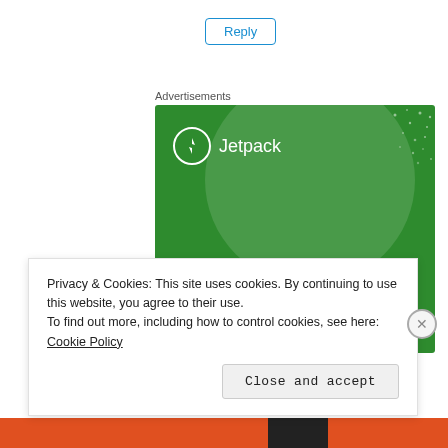Reply
Advertisements
[Figure (illustration): Jetpack advertisement banner on green background showing logo and text: The best real-time WordPress backup plugin]
Privacy & Cookies: This site uses cookies. By continuing to use this website, you agree to their use.
To find out more, including how to control cookies, see here: Cookie Policy
Close and accept